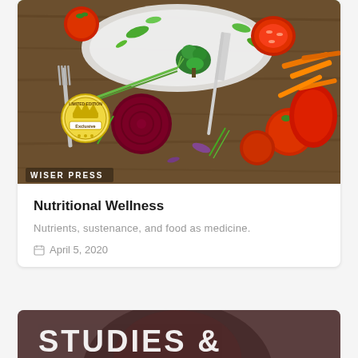[Figure (photo): Overhead photo of colorful fresh vegetables including tomatoes, broccoli, carrots, beets, and greens on a wooden surface with silverware and a plate. A 'Limited Edition' crown badge watermark and 'WISER PRESS' text overlay appear on the image.]
Nutritional Wellness
Nutrients, sustenance, and food as medicine.
April 5, 2020
[Figure (photo): Partial view of a second card showing a dark/blurred human figure background with large white bold text reading 'STUDIES &' partially visible at the bottom of the page.]